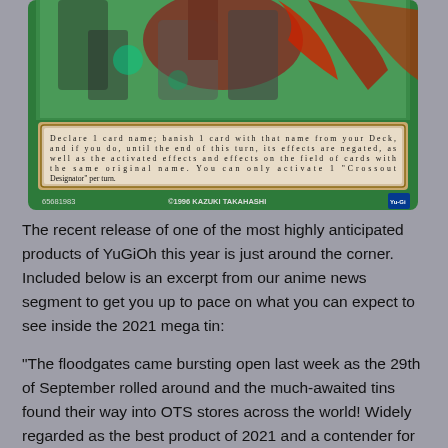[Figure (illustration): A Yu-Gi-Oh trading card showing 'Crossout Designator'. The card has a green border with a character image at the top (partially visible). The card text box reads: 'Declare 1 card name; banish 1 card with that name from your Deck, and if you do, until the end of this turn, its effects are negated, as well as the activated effects and effects on the field of cards with the same original name. You can only activate 1 "Crossout Designator" per turn.' The bottom of the card shows '65681983' on the left and '©1996 KAZUKI TAKAHASHI' on the right.]
The recent release of one of the most highly anticipated products of YuGiOh this year is just around the corner. Included below is an excerpt from our anime news segment to get you up to pace on what you can expect to see inside the 2021 mega tin:
"The floodgates came bursting open last week as the 29th of September rolled around and the much-awaited tins found their way into OTS stores across the world! Widely regarded as the best product of 2021 and a contender for one of the best tins in YuGiOh history, the Tins of Ancient Battles bring with them a prophecy that will change the entire way the game is played in the future: Crossout Designator